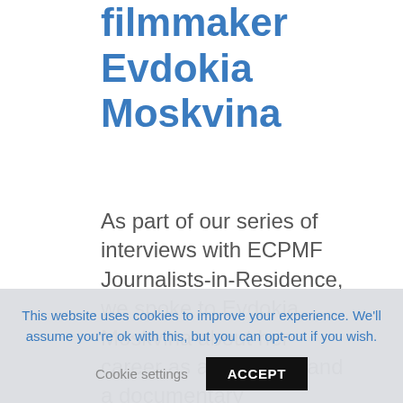filmmaker Evdokia Moskvina
As part of our series of interviews with ECPMF Journalists-in-Residence, we spoke to Evdokia Moskvina about her career as a journalist and a documentary
This website uses cookies to improve your experience. We'll assume you're ok with this, but you can opt-out if you wish. Cookie settings ACCEPT